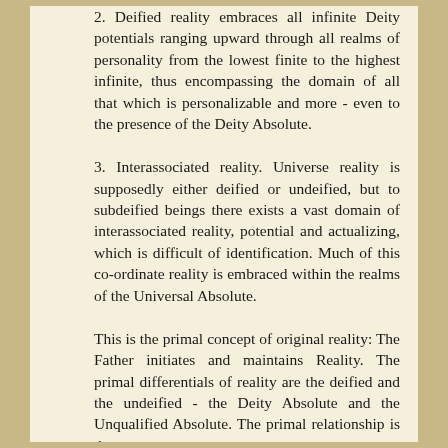0.4.3  2. Deified reality embraces all infinite Deity potentials ranging upward through all realms of personality from the lowest finite to the highest infinite, thus encompassing the domain of all that which is personalizable and more - even to the presence of the Deity Absolute.
0.4.4  3. Interassociated reality. Universe reality is supposedly either deified or undeified, but to subdeified beings there exists a vast domain of interassociated reality, potential and actualizing, which is difficult of identification. Much of this co-ordinate reality is embraced within the realms of the Universal Absolute.
0.4.5  This is the primal concept of original reality: The Father initiates and maintains Reality. The primal differentials of reality are the deified and the undeified - the Deity Absolute and the Unqualified Absolute. The primal relationship is the